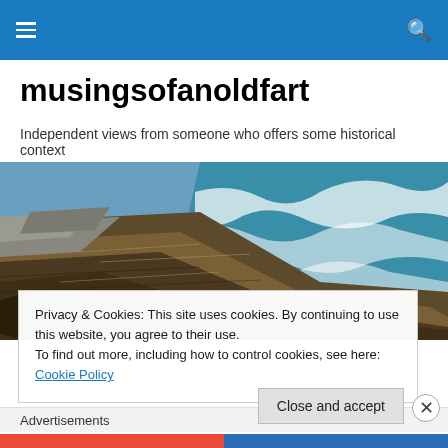Navigation bar with hamburger menu and search icon
musingsofanoldfart
Independent views from someone who offers some historical context
[Figure (photo): Aerial coastal photograph showing rugged rocky coastline with turquoise ocean waves crashing against brown and grey rocks]
Privacy & Cookies: This site uses cookies. By continuing to use this website, you agree to their use.
To find out more, including how to control cookies, see here: Cookie Policy
Close and accept
Advertisements